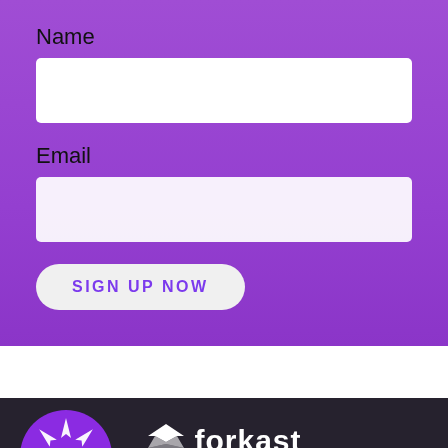Name
Email
SIGN UP NOW
[Figure (logo): Forkast logo with diamond/geometric icon and wordmark 'forkast' in white on dark background]
FOLLOW US
[Figure (logo): Purple circle with white star/arrow burst icon - Forkast brand icon]